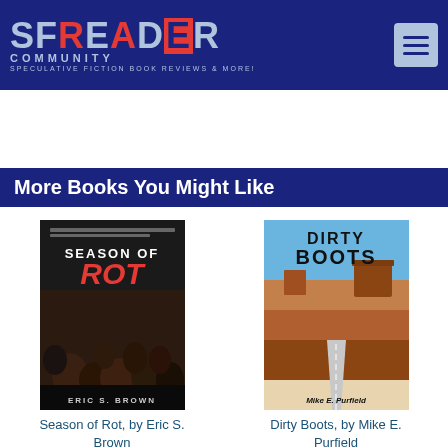[Figure (logo): SF Reader Community logo — 'SFREADER' in large letters with 'COMMUNITY' subtitle and 'SPECULATIVE FICTION BOOK REVIEWS & MORE!' tagline on dark blue background]
More Books You Might Like
[Figure (illustration): Book cover: Season of Rot by Eric S. Brown — dark cover with crowd of figures and red stylized title]
Season of Rot, by Eric S. Brown
[Figure (illustration): Book cover: Dirty Boots by Mike E. Purfield — desert landscape cover with bold title]
Dirty Boots, by Mike E. Purfield